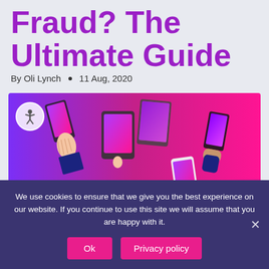Fraud? The Ultimate Guide
By Oli Lynch • 11 Aug, 2020
[Figure (illustration): Illustration of multiple hands holding smartphones and tablets with purple-to-pink gradient background, showing various mobile devices.]
We use cookies to ensure that we give you the best experience on our website. If you continue to use this site we will assume that you are happy with it.
Ok   Privacy policy